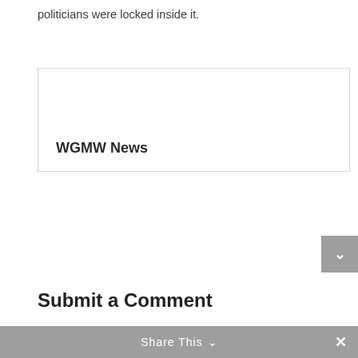politicians were locked inside it.
[Figure (other): A card/widget box with the label 'WGMW News' displayed at the bottom left inside a bordered rectangle.]
Submit a Comment
You must be logged in to post a comment.
Share This ∨  ×